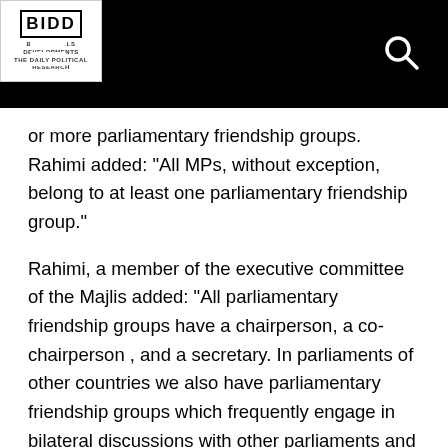BIDD | BILLS & BILLS DEVELOPMENTS
or more parliamentary friendship groups. Rahimi added: "All MPs, without exception, belong to at least one parliamentary friendship group."
Rahimi, a member of the executive committee of the Majlis added: "All parliamentary friendship groups have a chairperson, a co-chairperson , and a secretary. In parliaments of other countries we also have parliamentary friendship groups which frequently engage in bilateral discussions with other parliaments and other countries, and sometimes in multilateral discussions between parliamentary friendship groups of several countries, discussing regional issues."
Rahimi who represents a constituency in Tehran added: "Within the Iranian parliament (Majlis) we look at parliamentary friendship groups in a practical way. Members of these groups who often travel abroad to other parliaments